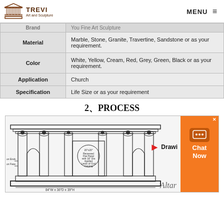TREVI Art and Sculpture | MENU
|  |  |
| --- | --- |
| Brand | You Fine Art Sculpture |
| Material | Marble, Stone, Granite, Travertine, Sandstone or as your requirement. |
| Color | White, Yellow, Cream, Red, Grey, Green, Black or as your requirement. |
| Application | Church |
| Specification | Life Size or as your requirement |
2、PROCESS
[Figure (engineering-diagram): Architectural drawing of a marble altar/altar structure with Corinthian columns, arched niches, and annotations. Shows 84"W x 36"D x 39"H dimensions, with details including 20"x20" Recessed Flat Panel with 16" Dia Applied Lamb of God Carving, on Ends / on Face labels. Red arrow pointing right with text 'Drawing'.]
84"W x 36"D x 39"H | Altar